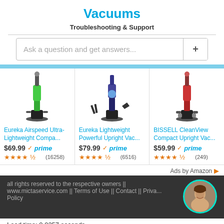Vacuums
Troubleshooting & Support
Ask a question and get answers...
[Figure (screenshot): Three vacuum cleaner product listings: Eureka Airspeed Ultra-Lightweight Compa... $69.99 prime (16258 reviews), Eureka Lightweight Powerful Upright Vac... $79.99 prime (6516 reviews), BISSELL CleanView Compact Upright Vac... $59.99 prime (249 reviews). Each with star ratings approximately 4.5 stars. Ads by Amazon label at bottom right.]
all rights reserved to the respective owners || www.mictaservice.com || Terms of Use || Contact || Privacy Policy
Load time: 0.0257 seconds